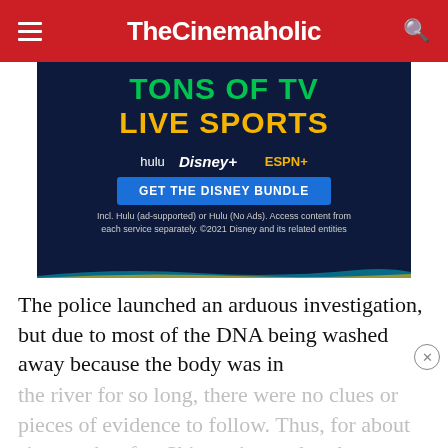TheCinemaholic
[Figure (screenshot): Disney Bundle advertisement showing 'TONS OF TV LIVE SPORTS' with Hulu, Disney+, and ESPN+ logos and a 'GET THE DISNEY BUNDLE' button on a dark navy background.]
The police launched an arduous investigation, but due to most of the DNA being washed away because the body was in the river for so long, there were no clues or pieces of evidence to follow. Thus, for about six months after Shippert's murder, the case grew cold and was almost on the verge of